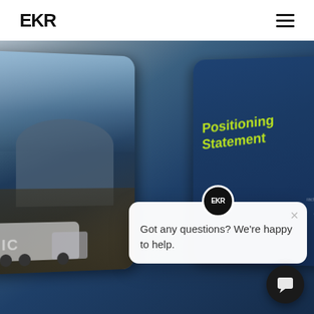EKR
[Figure (photo): EKR website screenshot showing a hero section with an open book/brochure displaying 'Positioning Statement' in lime green text on dark blue background. A chat popup overlay reads 'Got any questions? We're happy to help.' with an EKR badge and close button. A truck logistics image is visible on the left page of the brochure.]
Got any questions? We're happy to help.